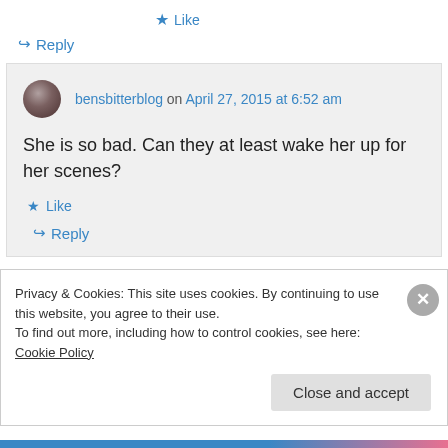★ Like
↪ Reply
bensbitterblog on April 27, 2015 at 6:52 am
She is so bad. Can they at least wake her up for her scenes?
★ Like
↪ Reply
Privacy & Cookies: This site uses cookies. By continuing to use this website, you agree to their use.
To find out more, including how to control cookies, see here: Cookie Policy
Close and accept